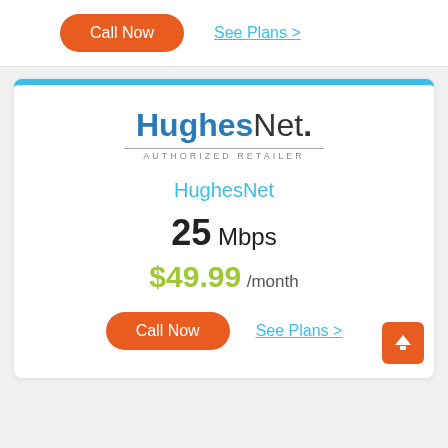Call Now
See Plans >
[Figure (logo): HughesNet Authorized Retailer logo]
HughesNet
25 Mbps
$49.99 /month
Call Now
See Plans >